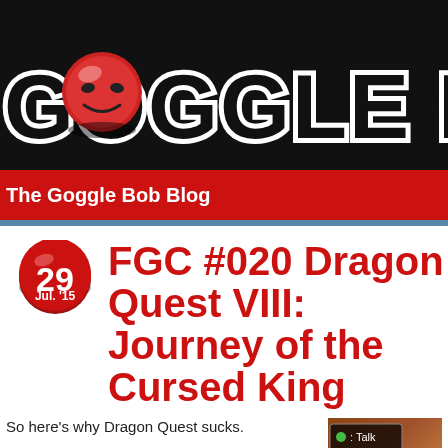[Figure (logo): Goggle Bob blog logo — large stylized text 'GOGGLE BOB' on dark background with a red smiley ball character replacing the first O]
The Goggle Bob Blog
FGC #020 Dragon Quest VIII: Journey of the Cursed King
So here's why Dragon Quest sucks.
There's two kinds of games in this world: games that rely on skill, and games that rely on luck. Games that rely on skill are the likes of chess,
[Figure (screenshot): Dragon Quest VIII game screenshot showing a menu with Talk and Return options, and a character with red hair visible at bottom]